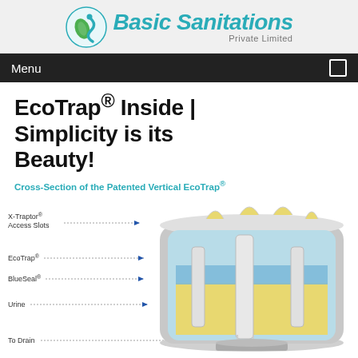[Figure (logo): Basic Sanitations Private Limited logo with teal BS initials icon and stylized text]
Menu
EcoTrap® Inside | Simplicity is its Beauty!
Cross-Section of the Patented Vertical EcoTrap®
[Figure (engineering-diagram): Cross-section diagram of the Patented Vertical EcoTrap® showing labeled components: X-Traptor® Access Slots (top), EcoTrap®, BlueSeal®, Urine, and To Drain with dotted leader lines and arrows pointing to respective parts of the urinal trap device.]